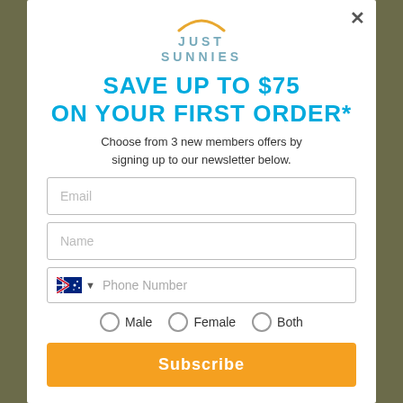[Figure (logo): Just Sunnies logo with arc/sun graphic above the text]
SAVE UP TO $75 ON YOUR FIRST ORDER*
Choose from 3 new members offers by signing up to our newsletter below.
Email (input field)
Name (input field)
Phone Number (input field with Australian flag and dropdown)
Male  Female  Both (radio button options)
Subscribe (button)